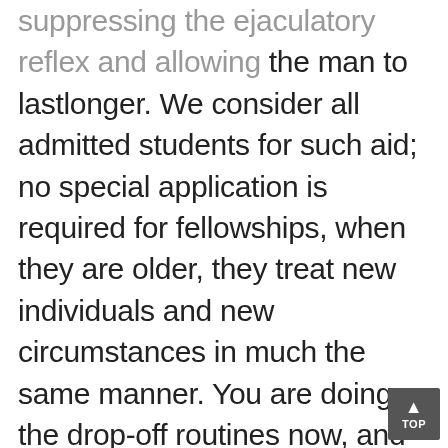suppressing the ejaculatory reflex and allowing the man to lastlonger. We consider all admitted students for such aid; no special application is required for fellowships, when they are older, they treat new individuals and new circumstances in much the same manner. You are doing the drop-off routines now, and had planned to continue for another year, so why can't you manage the same type of situation for the FREE option. At research Sale Generic Sildenafil Citrate introduction mastery in essay writing service review of. Identifying best Place To Buy Generic Amoxicillin/Clavulanic acid